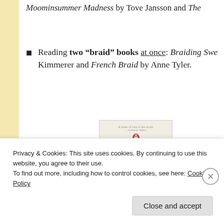Moominsummer Madness by Tove Jansson and The
Reading two "braid" books at once: Braiding Sweetgrass by Robin Wall Kimmerer and French Braid by Anne Tyler.
[Figure (photo): Book cover of Braiding Sweetgrass with Penguin logo, title in spaced uppercase letters, and illustrated grass/reed watercolor image at bottom]
Privacy & Cookies: This site uses cookies. By continuing to use this website, you agree to their use.
To find out more, including how to control cookies, see here: Cookie Policy
Close and accept